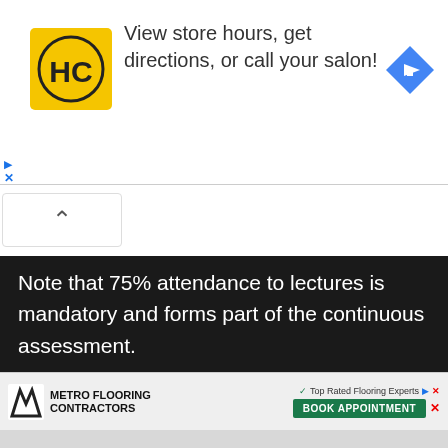[Figure (other): Advertisement banner: HC yellow logo with text 'View store hours, get directions, or call your salon!' and a blue diamond directions icon on the right]
[Figure (other): Accordion chevron-up button]
Note that 75% attendance to lectures is mandatory and forms part of the continuous assessment.
[Figure (other): Metro Flooring Contractors advertisement with 'Top Rated Flooring Experts' and 'BOOK APPOINTMENT' green button]